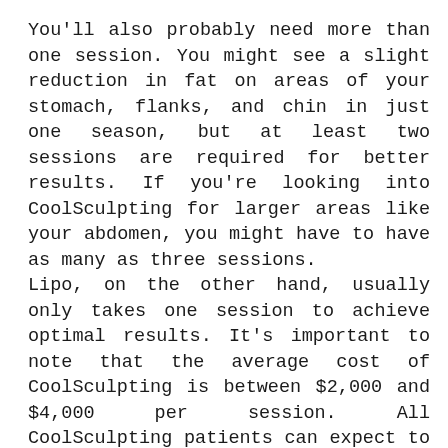You'll also probably need more than one session. You might see a slight reduction in fat on areas of your stomach, flanks, and chin in just one season, but at least two sessions are required for better results. If you're looking into CoolSculpting for larger areas like your abdomen, you might have to have as many as three sessions. Lipo, on the other hand, usually only takes one session to achieve optimal results. It's important to note that the average cost of CoolSculpting is between $2,000 and $4,000 per session. All CoolSculpting patients can expect to undergo at least two treatments with